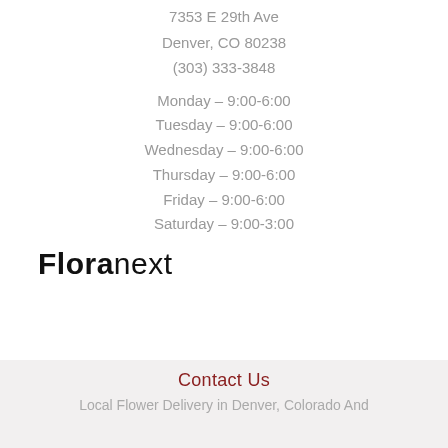7353 E 29th Ave
Denver, CO 80238
(303) 333-3848
Monday – 9:00-6:00
Tuesday – 9:00-6:00
Wednesday – 9:00-6:00
Thursday – 9:00-6:00
Friday – 9:00-6:00
Saturday – 9:00-3:00
Floranext
Contact Us
Local Flower Delivery in Denver, Colorado And